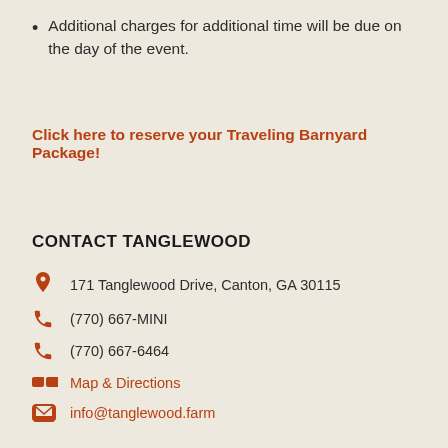Additional charges for additional time will be due on the day of the event.
Click here to reserve your Traveling Barnyard Package!
CONTACT TANGLEWOOD
171 Tanglewood Drive, Canton, GA 30115
(770) 667-MINI
(770) 667-6464
Map & Directions
info@tanglewood.farm